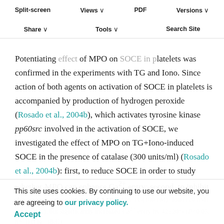Methods. Values are mean ± s.e.m. of three independent experiments. *P<0.05; n=3.
Split-screen | Views | PDF | Versions | Share | Tools | Search Site
Potentiating effect of MPO on SOCE in platelets was confirmed in the experiments with TG and Iono. Since action of both agents on activation of SOCE in platelets is accompanied by production of hydrogen peroxide (Rosado et al., 2004b), which activates tyrosine kinase pp60src involved in the activation of SOCE, we investigated the effect of MPO on TG+Iono-induced SOCE in the presence of catalase (300 units/ml) (Rosado et al., 2004b): first, to reduce SOCE in order to study whether MPO can enhance Ca2+ entry; second, to inhibit the enzymatic activity of MPO.
Adding MPO to platelets in the presence of catalase did not affect Ca2+ release from intracellular stores induced by TG(100 nM)+Iono (20 nM) (Fig. 3B,C), but significantly increased Ca2+ entry by 42±20% (P<0.05; n= 3) (Fig. 3B,C).
This site uses cookies. By continuing to use our website, you are agreeing to our privacy policy.
Accept